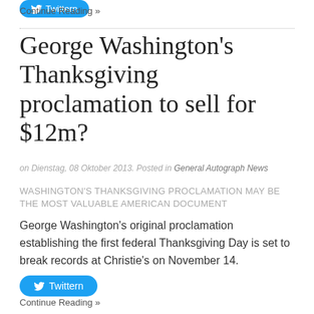[Figure (other): Blue Twitter/social button at top of page (partial)]
Continue Reading »
George Washington's Thanksgiving proclamation to sell for $12m?
on Dienstag, 08 Oktober 2013. Posted in General Autograph News
WASHINGTON'S THANKSGIVING PROCLAMATION MAY BE THE MOST VALUABLE AMERICAN DOCUMENT
George Washington's original proclamation establishing the first federal Thanksgiving Day is set to break records at Christie's on November 14.
[Figure (other): Blue Twitter share button labeled Twittern]
Continue Reading »